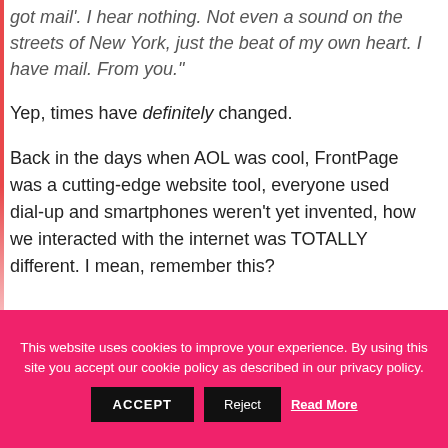got mail'. I hear nothing. Not even a sound on the streets of New York, just the beat of my own heart. I have mail. From you."
Yep, times have definitely changed.
Back in the days when AOL was cool, FrontPage was a cutting-edge website tool, everyone used dial-up and smartphones weren't yet invented, how we interacted with the internet was TOTALLY different. I mean, remember this?
[Figure (photo): Dark background image, partially visible at bottom of content area]
This website uses cookies to improve your experience. By using this site you accept our cookie policy as described in our privacy policy.